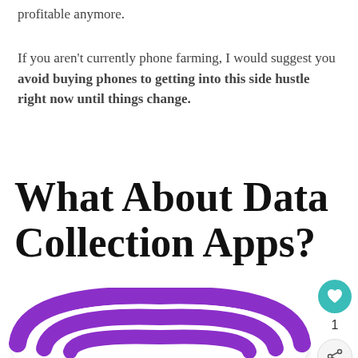profitable anymore.
If you aren't currently phone farming, I would suggest you avoid buying phones to getting into this side hustle right now until things change.
What About Data Collection Apps?
[Figure (illustration): Purple WiFi/data signal sticker illustration with concentric arcs in purple and white, rounded sticker style with drop shadow, partially cropped at bottom of page]
[Figure (other): Sidebar UI elements: teal heart/like button with count of 1, and a share button below]